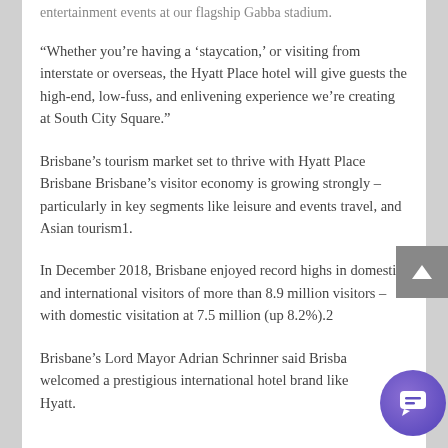entertainment events at our flagship Gabba stadium.
“Whether you’re having a ‘staycation,’ or visiting from interstate or overseas, the Hyatt Place hotel will give guests the high-end, low-fuss, and enlivening experience we’re creating at South City Square.”
Brisbane’s tourism market set to thrive with Hyatt Place Brisbane Brisbane’s visitor economy is growing strongly – particularly in key segments like leisure and events travel, and Asian tourism1.
In December 2018, Brisbane enjoyed record highs in domestic and international visitors of more than 8.9 million visitors – with domestic visitation at 7.5 million (up 8.2%).2
Brisbane’s Lord Mayor Adrian Schrinner said Brisbane welcomed a prestigious international hotel brand like Hyatt.